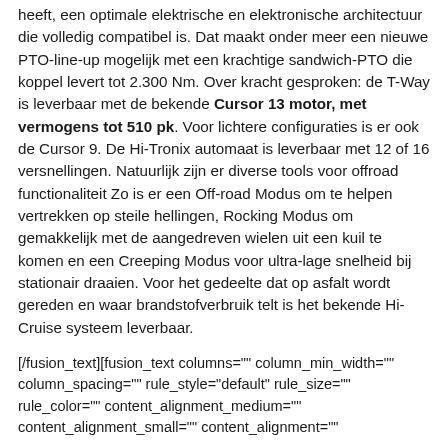heeft, een optimale elektrische en elektronische architectuur die volledig compatibel is. Dat maakt onder meer een nieuwe PTO-line-up mogelijk met een krachtige sandwich-PTO die koppel levert tot 2.300 Nm. Over kracht gesproken: de T-Way is leverbaar met de bekende Cursor 13 motor, met vermogens tot 510 pk. Voor lichtere configuraties is er ook de Cursor 9. De Hi-Tronix automaat is leverbaar met 12 of 16 versnellingen. Natuurlijk zijn er diverse tools voor offroad functionaliteit Zo is er een Off-road Modus om te helpen vertrekken op steile hellingen, Rocking Modus om gemakkelijk met de aangedreven wielen uit een kuil te komen en een Creeping Modus voor ultra-lage snelheid bij stationair draaien. Voor het gedeelte dat op asfalt wordt gereden en waar brandstofverbruik telt is het bekende Hi-Cruise systeem leverbaar.
[/fusion_text][fusion_text columns="" column_min_width="" column_spacing="" rule_style="default" rule_size="" rule_color="" content_alignment_medium="" content_alignment_small="" content_alignment=""